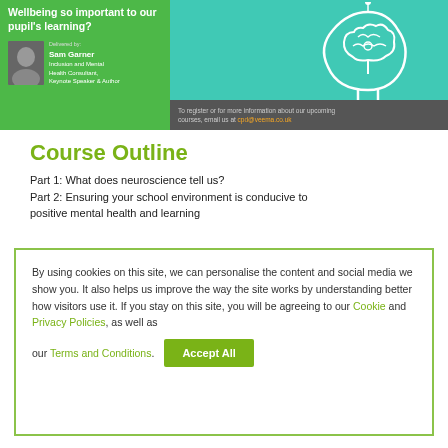[Figure (illustration): Course promotional banner with green background, brain illustration on teal section, speaker photo of Sam Garner, and registration information on dark grey footer strip.]
Course Outline
Part 1: What does neuroscience tell us?
Part 2: Ensuring your school environment is conducive to positive mental health and learning
By using cookies on this site, we can personalise the content and social media we show you. It also helps us improve the way the site works by understanding better how visitors use it. If you stay on this site, you will be agreeing to our Cookie and Privacy Policies, as well as our Terms and Conditions.